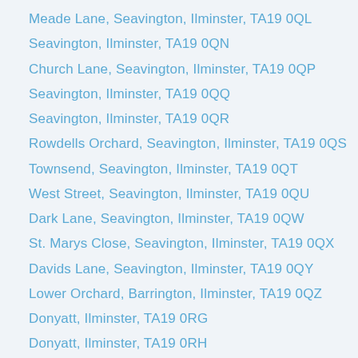Meade Lane, Seavington, Ilminster, TA19 0QL
Seavington, Ilminster, TA19 0QN
Church Lane, Seavington, Ilminster, TA19 0QP
Seavington, Ilminster, TA19 0QQ
Seavington, Ilminster, TA19 0QR
Rowdells Orchard, Seavington, Ilminster, TA19 0QS
Townsend, Seavington, Ilminster, TA19 0QT
West Street, Seavington, Ilminster, TA19 0QU
Dark Lane, Seavington, Ilminster, TA19 0QW
St. Marys Close, Seavington, Ilminster, TA19 0QX
Davids Lane, Seavington, Ilminster, TA19 0QY
Lower Orchard, Barrington, Ilminster, TA19 0QZ
Donyatt, Ilminster, TA19 0RG
Donyatt, Ilminster, TA19 0RH
Church Street, Donyatt, Ilminster, TA19 0RJ